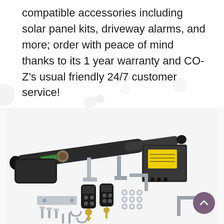compatible accessories including solar panel kits, driveway alarms, and more; order with peace of mind thanks to its 1 year warranty and CO-Z's usual friendly 24/7 customer service!
[Figure (photo): Product photo showing a black electric gate linear actuator arm with motor housing, a control box with yellow warning label, two remote controls with keys, mounting brackets, bolts, nuts, and hardware accessories spread out on a white background.]